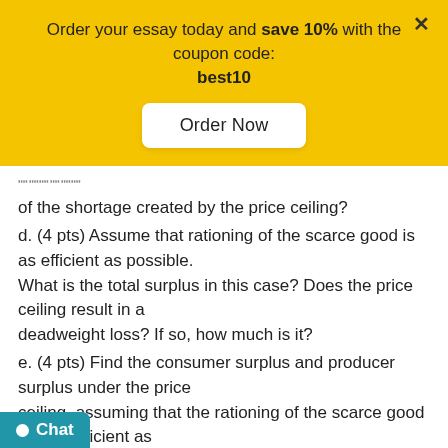[Figure (other): Yellow promotional banner with text 'Order your essay today and save 10% with the coupon code: best10', an 'Order Now' button, and a close X icon]
...the size of the shortage created by the price ceiling?
d. (4 pts) Assume that rationing of the scarce good is as efficient as possible. What is the total surplus in this case? Does the price ceiling result in a deadweight loss? If so, how much is it?
e. (4 pts) Find the consumer surplus and producer surplus under the price ceiling, assuming that the rationing of the scarce good is as inefficient as possible. What is the net economic benefit in this case? Does the price ceiling result in a deadweight loss? If so, how much is it?
...s) The domestic demand curve for headphones is given by Qd = 5000 –